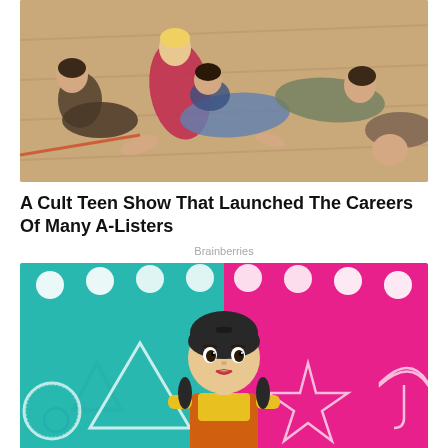[Figure (photo): Group of young people lying on a wooden floor, viewed from above — a promotional photo from a teen TV show]
A Cult Teen Show That Launched The Careers Of Many A-Listers
Brainberries
[Figure (illustration): Animated doll character from Squid Game in yellow shirt and orange apron dress, standing in front of teal and pink background with geometric symbols (circle, triangle, star, umbrella) in glittery white outlines]